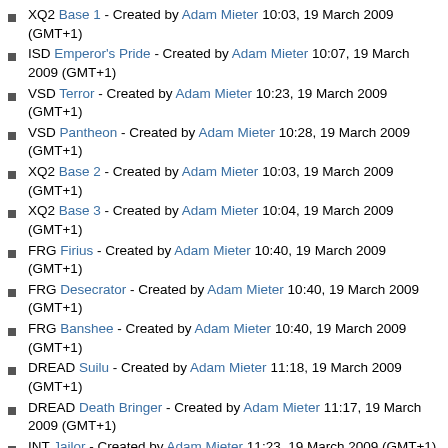XQ2 Base 1 - Created by Adam Mieter 10:03, 19 March 2009 (GMT+1)
ISD Emperor's Pride - Created by Adam Mieter 10:07, 19 March 2009 (GMT+1)
VSD Terror - Created by Adam Mieter 10:23, 19 March 2009 (GMT+1)
VSD Pantheon - Created by Adam Mieter 10:28, 19 March 2009 (GMT+1)
XQ2 Base 2 - Created by Adam Mieter 10:03, 19 March 2009 (GMT+1)
XQ2 Base 3 - Created by Adam Mieter 10:04, 19 March 2009 (GMT+1)
FRG Firius - Created by Adam Mieter 10:40, 19 March 2009 (GMT+1)
FRG Desecrator - Created by Adam Mieter 10:40, 19 March 2009 (GMT+1)
FRG Banshee - Created by Adam Mieter 10:40, 19 March 2009 (GMT+1)
DREAD Suilu - Created by Adam Mieter 11:18, 19 March 2009 (GMT+1)
DREAD Death Bringer - Created by Adam Mieter 11:17, 19 March 2009 (GMT+1)
INT Jailor - Created by Adam Mieter 11:23, 19 March 2009 (GMT+1)
STRKC Behemoth - Created by Adam Mieter 11:27, 19 March 2009 (GMT+1)
VSD Pain - Created by Adam Mieter 11:31, 19 March 2009 (GMT+1)
ISD Dictator - Created by Adam Mieter 11:34, 19 March 2009 (GMT+1)